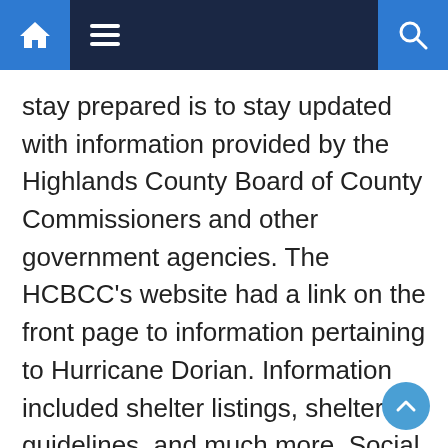Navigation bar with home, menu, and search icons
stay prepared is to stay updated with information provided by the Highlands County Board of County Commissioners and other government agencies. The HCBCC's website had a link on the front page to information pertaining to Hurricane Dorian. Information included shelter listings, shelter guidelines, and much more. Social media, which isn't for everyone, can be a tremendous help during a time of crisis or natural disaster. Following the Facebook page or from